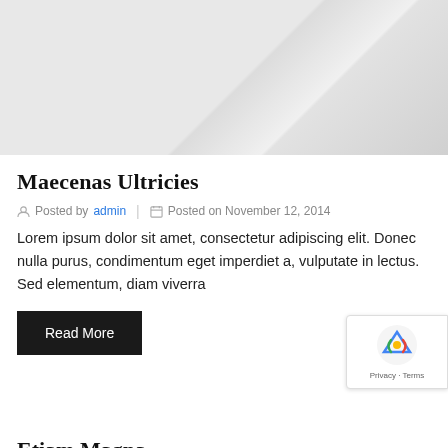[Figure (photo): Light gray placeholder image with diagonal highlight/reflection effect]
Maecenas Ultricies
Posted by admin  |  Posted on November 12, 2014
Lorem ipsum dolor sit amet, consectetur adipiscing elit. Donec nulla purus, condimentum eget imperdiet a, vulputate in lectus. Sed elementum, diam viverra
Read More
Etiam Magna